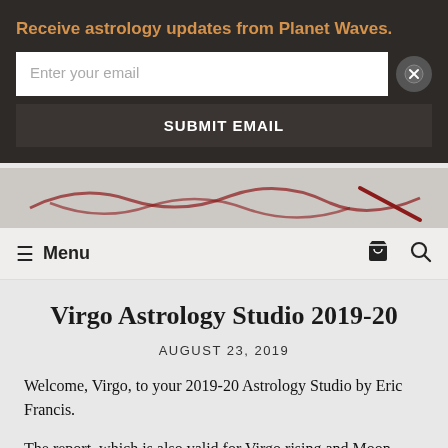Receive astrology updates from Planet Waves.
Enter your email
SUBMIT EMAIL
Menu
Virgo Astrology Studio 2019-20
AUGUST 23, 2019
Welcome, Virgo, to your 2019-20 Astrology Studio by Eric Francis.
The report, which is also valid for Virgo rising and Moon, includes two segments of astrology, and a third segment of tarot.